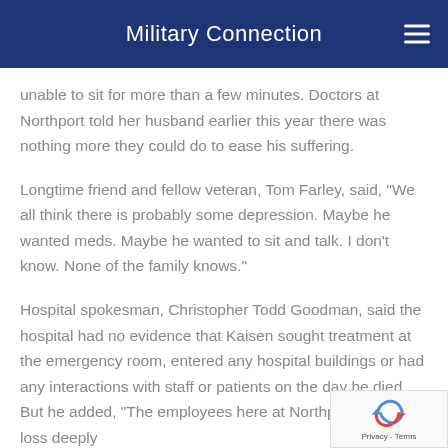Military Connection
unable to sit for more than a few minutes. Doctors at Northport told her husband earlier this year there was nothing more they could do to ease his suffering.
Longtime friend and fellow veteran, Tom Farley, said, "We all think there is probably some depression. Maybe he wanted meds. Maybe he wanted to sit and talk. I don't know. None of the family knows."
Hospital spokesman, Christopher Todd Goodman, said the hospital had no evidence that Kaisen sought treatment at the emergency room, entered any hospital buildings or had any interactions with staff or patients on the day he died. But he added, "The employees here at Northport feel this loss deeply